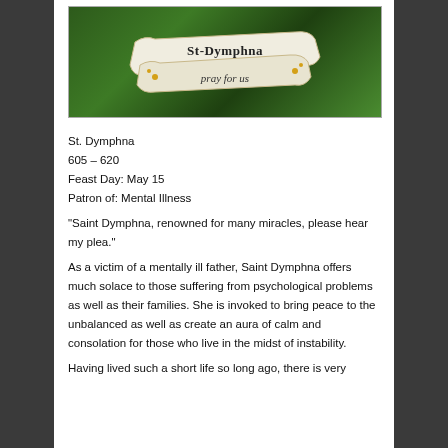[Figure (photo): A green leafy background with a decorative banner/scroll reading 'St-Dymphna pray for us' in gothic script, with small yellow flower decorations.]
St. Dymphna
605 – 620
Feast Day: May 15
Patron of: Mental Illness
“Saint Dymphna, renowned for many miracles, please hear my plea.”
As a victim of a mentally ill father, Saint Dymphna offers much solace to those suffering from psychological problems as well as their families. She is invoked to bring peace to the unbalanced as well as create an aura of calm and consolation for those who live in the midst of instability.
Having lived such a short life so long ago, there is very